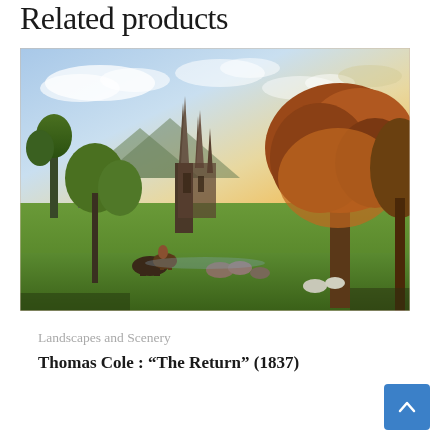Related products
[Figure (photo): Romantic landscape painting by Thomas Cole showing a pastoral scene with Gothic cathedral spires rising above trees, figures on horseback in foreground, golden sunset light, lush green meadow, large autumn trees on the right.]
Landscapes and Scenery
Thomas Cole : “The Return” (1837)